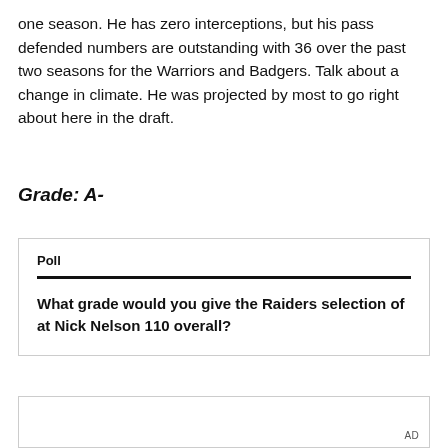one season. He has zero interceptions, but his pass defended numbers are outstanding with 36 over the past two seasons for the Warriors and Badgers. Talk about a change in climate. He was projected by most to go right about here in the draft.
Grade: A-
Poll
What grade would you give the Raiders selection of at Nick Nelson 110 overall?
AD